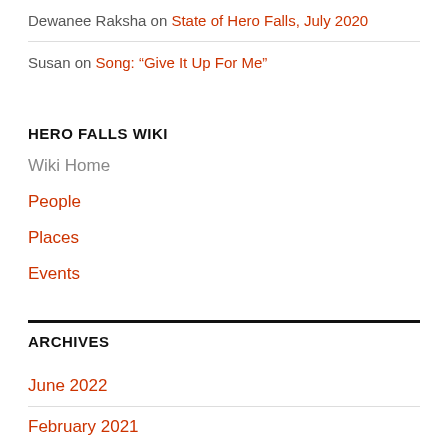Dewanee Raksha on State of Hero Falls, July 2020
Susan on Song: “Give It Up For Me”
HERO FALLS WIKI
Wiki Home
People
Places
Events
ARCHIVES
June 2022
February 2021